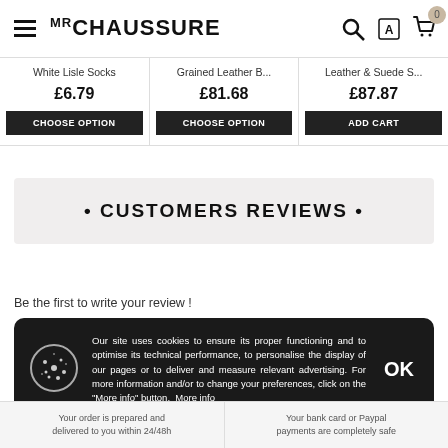MR CHAUSSURE
White Lisle Socks £6.79
Grained Leather B... £81.68
Leather & Suede S... £87.87
• CUSTOMERS REVIEWS •
Be the first to write your review !
Our site uses cookies to ensure its proper functioning and to optimise its technical performance, to personalise the display of our pages or to deliver and measure relevant advertising. For more information and/or to change your preferences, click on the "More info" button. More info
Your order is prepared and delivered to you within 24/48h | Your bank card or Paypal payments are completely safe